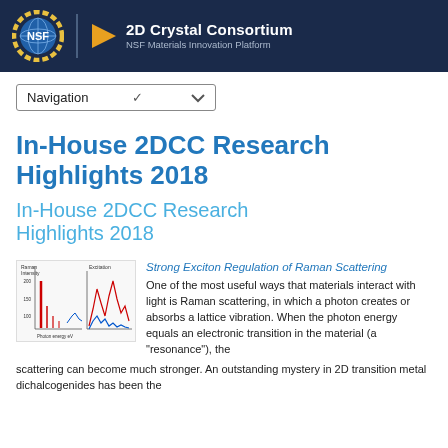[Figure (logo): 2D Crystal Consortium NSF Materials Innovation Platform header with NSF globe logo and triangle logo]
Navigation
In-House 2DCC Research Highlights 2018
In-House 2DCC Research Highlights 2018
[Figure (other): Raman scattering spectrum chart thumbnail showing red and blue spectral lines]
Strong Exciton Regulation of Raman Scattering
One of the most useful ways that materials interact with light is Raman scattering, in which a photon creates or absorbs a lattice vibration. When the photon energy equals an electronic transition in the material (a “resonance”), the scattering can become much stronger. An outstanding mystery in 2D transition metal dichalcogenides has been the